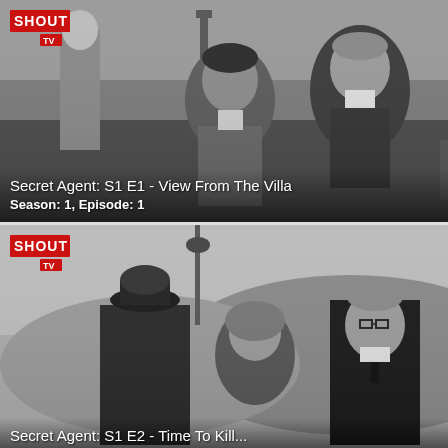[Figure (screenshot): Black and white still from Secret Agent TV show showing two men at an outdoor cafe/restaurant scene. SHOUT TV logo in top-left corner.]
Secret Agent: S1 E1 - View From The Villa
Season: 1, Episode: 1
[Figure (screenshot): Black and white still from Secret Agent TV show showing three people standing outdoors — a uniformed officer, a woman in a headscarf, and a man in glasses and dark suit. SHOUT TV logo in top-left corner.]
Secret Agent: S1 E2 - Time To Kill...